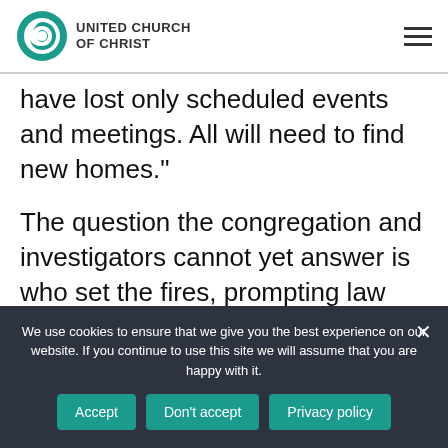UNITED CHURCH OF CHRIST
have lost only scheduled events and meetings. All will need to find new homes."
The question the congregation and investigators cannot yet answer is who set the fires, prompting law enforcement agencies in
We use cookies to ensure that we give you the best experience on our website. If you continue to use this site we will assume that you are happy with it.